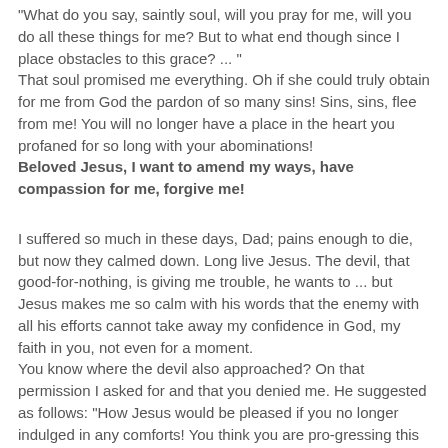"What do you say, saintly soul, will you pray for me, will you do all these things for me? But to what end though since I place obstacles to this grace? ... "
That soul promised me everything. Oh if she could truly obtain for me from God the pardon of so many sins! Sins, sins, flee from me! You will no longer have a place in the heart you profaned for so long with your abominations!
Beloved Jesus, I want to amend my ways, have compassion for me, forgive me!
I suffered so much in these days, Dad; pains enough to die, but now they calmed down. Long live Jesus. The devil, that good-for-nothing, is giving me trouble, he wants to ... but Jesus makes me so calm with his words that the enemy with all his efforts cannot take away my confidence in God, my faith in you, not even for a moment.
You know where the devil also approached? On that permission I asked for and that you denied me. He suggested as follows: "How Jesus would be pleased if you no longer indulged in any comforts! You think you are pro-gressing this way? Your life is too easy. If you do not make